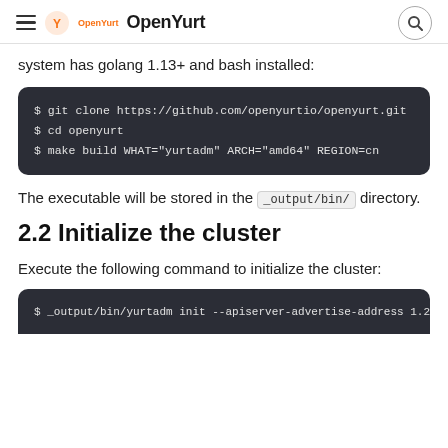OpenYurt
system has golang 1.13+ and bash installed:
$ git clone https://github.com/openyurtio/openyurt.git
$ cd openyurt
$ make build WHAT="yurtadm" ARCH="amd64" REGION=cn
The executable will be stored in the _output/bin/ directory.
2.2 Initialize the cluster
Execute the following command to initialize the cluster:
$ _output/bin/yurtadm init --apiserver-advertise-address 1.2